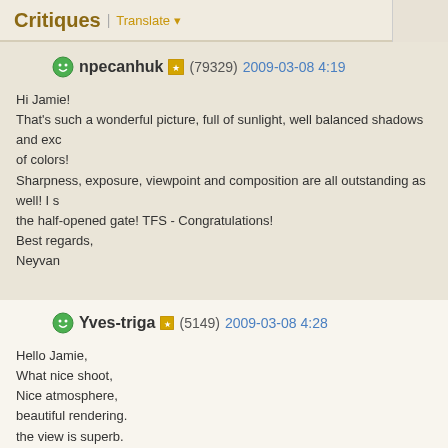Critiques | Translate
npecanhuk (79329) 2009-03-08 4:19
Hi Jamie!
That's such a wonderful picture, full of sunlight, well balanced shadows and exc of colors!
Sharpness, exposure, viewpoint and composition are all outstanding as well! I s the half-opened gate! TFS - Congratulations!
Best regards,
Neyvan
Yves-triga (5149) 2009-03-08 4:28
Hello Jamie,
What nice shoot,
Nice atmosphere,
beautiful rendering.
the view is superb.
a beautiful picture.


Friendly.

Yves